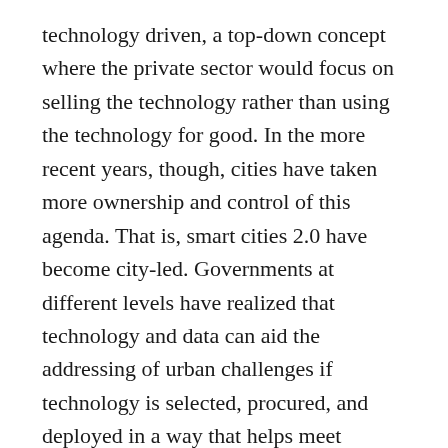technology driven, a top-down concept where the private sector would focus on selling the technology rather than using the technology for good. In the more recent years, though, cities have taken more ownership and control of this agenda. That is, smart cities 2.0 have become city-led. Governments at different levels have realized that technology and data can aid the addressing of urban challenges if technology is selected, procured, and deployed in a way that helps meet objectives of the smart cities (Bibri & Krogstie, 2017). In some parts of the world the idea of smart cities 3.0 is starting to take shape, which is ground-up, i.e., collaborative governance processes, strong